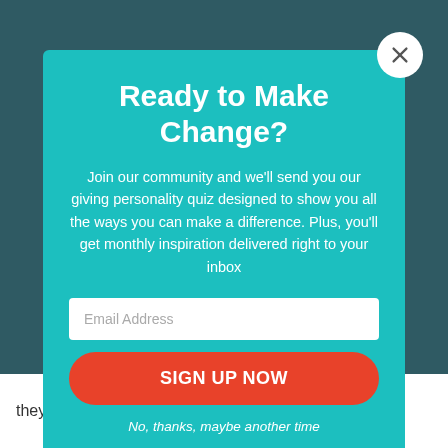Ready to Make Change?
Join our community and we'll send you our giving personality quiz designed to show you all the ways you can make a difference. Plus, you'll get monthly inspiration delivered right to your inbox
Email Address
SIGN UP NOW
No, thanks, maybe another time
they have good quality of life. In addition, we try to